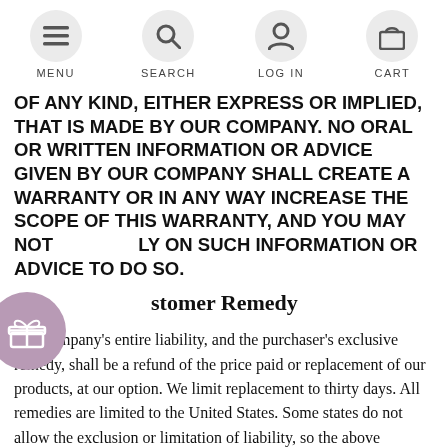MENU  SEARCH  LOG IN  CART
OF ANY KIND, EITHER EXPRESS OR IMPLIED, THAT IS MADE BY OUR COMPANY. NO ORAL OR WRITTEN INFORMATION OR ADVICE GIVEN BY OUR COMPANY SHALL CREATE A WARRANTY OR IN ANY WAY INCREASE THE SCOPE OF THIS WARRANTY, AND YOU MAY NOT RELY ON SUCH INFORMATION OR ADVICE TO DO SO.
Customer Remedy
Our company's entire liability, and the purchaser's exclusive remedy, shall be a refund of the price paid or replacement of our products, at our option. We limit replacement to thirty days. All remedies are limited to the United States. Some states do not allow the exclusion or limitation of liability, so the above limitations may not apply to you.